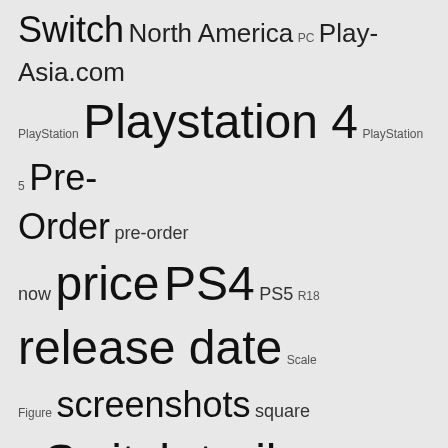Switch North America PC Play-Asia.com PlayStation Playstation 4 PlayStation 5 Pre-Order pre-order now price PS4 PS5 R18 release date Scale Figure screenshots square enix Switch trailer T shirt Update US Wall Scroll Weekly Special Xbox One XONE 週刊特集
MORE
Earn 'DOUBLE COINS' with these picks
[Figure (photo): Three video game product boxes partially visible: a Nintendo Switch game (teal/green art), a PS5 game with colorful character art, and an orange/warm colored game box]